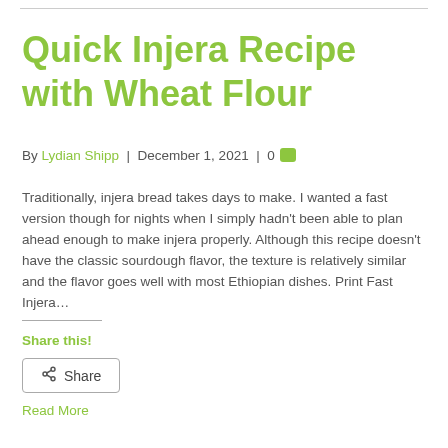Quick Injera Recipe with Wheat Flour
By Lydian Shipp | December 1, 2021 | 0
Traditionally, injera bread takes days to make. I wanted a fast version though for nights when I simply hadn't been able to plan ahead enough to make injera properly. Although this recipe doesn't have the classic sourdough flavor, the texture is relatively similar and the flavor goes well with most Ethiopian dishes. Print Fast Injera…
Share this!
Share
Read More